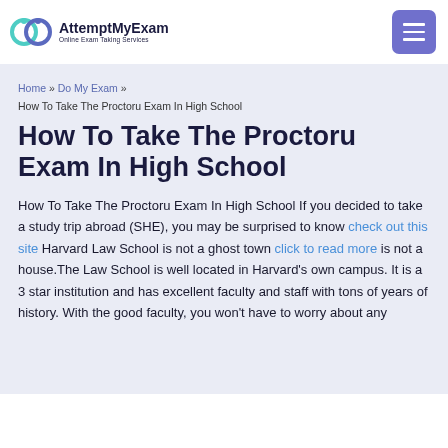[Figure (logo): AttemptMyExam logo with circular icon and text 'AttemptMyExam / Online Exam Taking Services']
Home » Do My Exam » How To Take The Proctoru Exam In High School
How To Take The Proctoru Exam In High School
How To Take The Proctoru Exam In High School If you decided to take a study trip abroad (SHE), you may be surprised to know check out this site Harvard Law School is not a ghost town click to read more is not a house.The Law School is well located in Harvard's own campus. It is a 3 star institution and has excellent faculty and staff with tons of years of history. With the good faculty, you won't have to worry about any